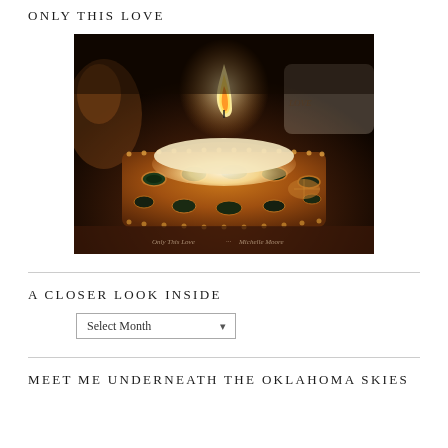ONLY THIS LOVE
[Figure (photo): A decorative jeweled candle holder with an ornate gold and gemstone exterior, lit candle visible inside, placed on a dark wooden surface. A watermark reads 'Only This Love ... Michelle Moore'.]
A CLOSER LOOK INSIDE
Select Month (dropdown)
MEET ME UNDERNEATH THE OKLAHOMA SKIES